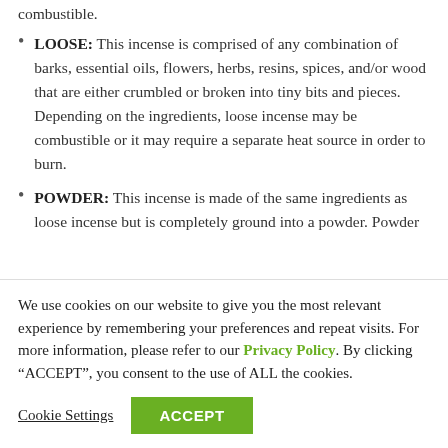combustible.
LOOSE: This incense is comprised of any combination of barks, essential oils, flowers, herbs, resins, spices, and/or wood that are either crumbled or broken into tiny bits and pieces. Depending on the ingredients, loose incense may be combustible or it may require a separate heat source in order to burn.
POWDER: This incense is made of the same ingredients as loose incense but is completely ground into a powder. Powder incense may be combustible but it typically requires a separate heat source in
We use cookies on our website to give you the most relevant experience by remembering your preferences and repeat visits. For more information, please refer to our Privacy Policy. By clicking “ACCEPT”, you consent to the use of ALL the cookies.
Cookie Settings
ACCEPT